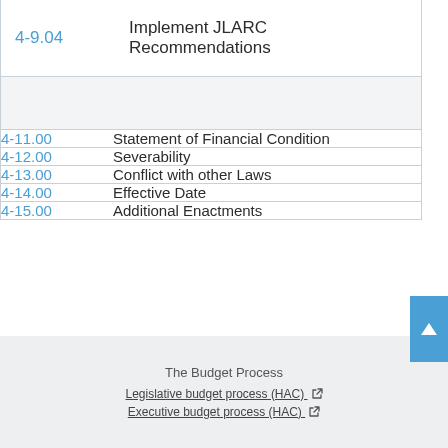| Section | Title |
| --- | --- |
| 4-9.04 | Implement JLARC Recommendations |
|  |  |
| 4-11.00 | Statement of Financial Condition |
| 4-12.00 | Severability |
| 4-13.00 | Conflict with other Laws |
| 4-14.00 | Effective Date |
| 4-15.00 | Additional Enactments |
The Budget Process
Legislative budget process (HAC)
Executive budget process (HAC)